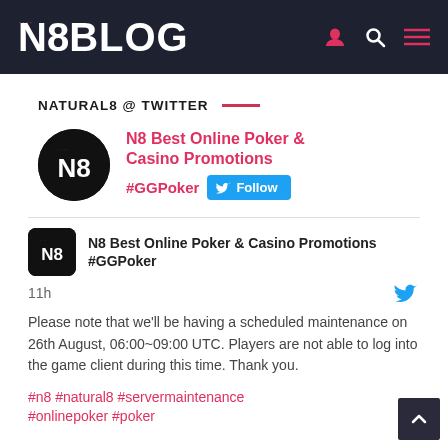N8BLOG
NATURAL8 @ TWITTER
[Figure (logo): N8 Best Online Poker & Casino Promotions profile with circular black logo showing N8, pink name, #GGPoker hashtag, and Twitter Follow button]
N8 Best Online Poker & Casino Promotions #GGPoker
11h
Please note that we'll be having a scheduled maintenance on 26th August, 06:00~09:00 UTC. Players are not able to log into the game client during this time. Thank you.
#n8 #natural8 #servermaintenance #onlinepoker #poker